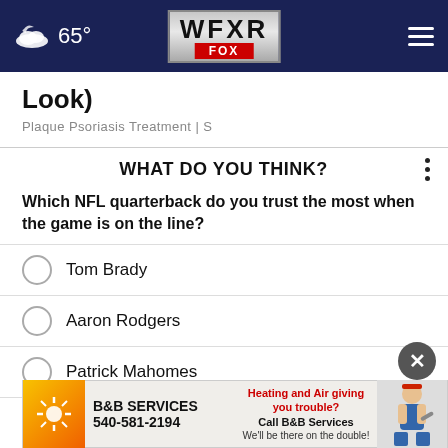65° WFXR FOX
Look)
Plaque Psoriasis Treatment | S
WHAT DO YOU THINK?
Which NFL quarterback do you trust the most when the game is on the line?
Tom Brady
Aaron Rodgers
Patrick Mahomes
Drew Brees
R
Other
[Figure (infographic): B&B Services advertisement banner: heating and air service ad with phone number 540-581-2194]